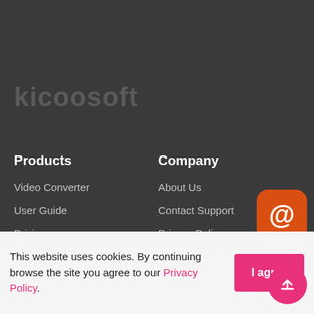[Figure (logo): Dark background section with watermarked logo text 'kicoosoft']
Products
Video Converter
User Guide
Pricing
Company
About Us
Contact Support
Privacy Policy
This website uses cookies. By continuing browse the site you agree to our Privacy Policy.
I agree